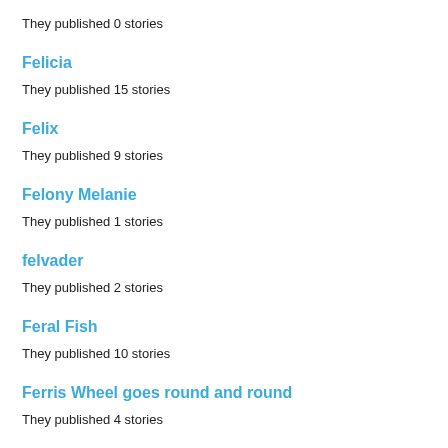They published 0 stories
Felicia
They published 15 stories
Felix
They published 9 stories
Felony Melanie
They published 1 stories
felvader
They published 2 stories
Feral Fish
They published 10 stories
Ferris Wheel goes round and round
They published 4 stories